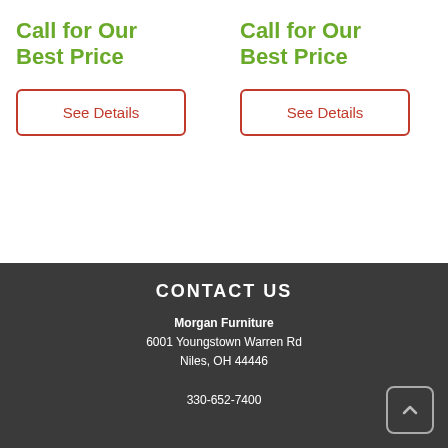Call for Our Best Price
See Details
Call for Our Best Price
See Details
CONTACT US
Morgan Furniture
6001 Youngstown Warren Rd
Niles, OH 44446

330-652-7400